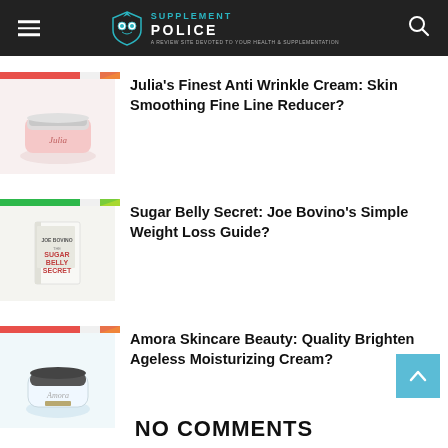SUPPLEMENT POLICE
[Figure (photo): Thumbnail image of Julia's Finest Anti Wrinkle Cream product]
Julia's Finest Anti Wrinkle Cream: Skin Smoothing Fine Line Reducer?
[Figure (photo): Thumbnail image of Sugar Belly Secret book by Joe Bovino]
Sugar Belly Secret: Joe Bovino's Simple Weight Loss Guide?
[Figure (photo): Thumbnail image of Amora Skincare Beauty moisturizing cream]
Amora Skincare Beauty: Quality Brighten Ageless Moisturizing Cream?
NO COMMENTS